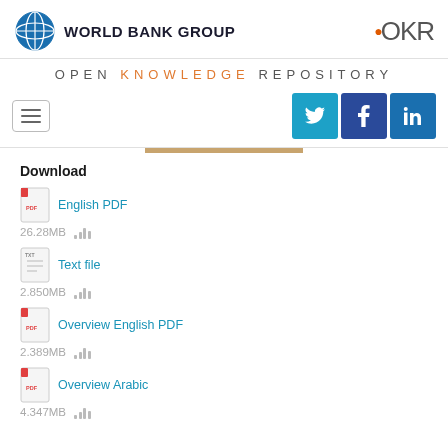[Figure (logo): World Bank Group logo with globe icon and text]
[Figure (logo): OKR (Open Knowledge Repository) logo]
OPEN KNOWLEDGE REPOSITORY
[Figure (other): Navigation hamburger menu and social media icons for Twitter, Facebook, LinkedIn]
Download
English PDF
26.28MB
Text file
2.850MB
Overview English PDF
2.389MB
Overview Arabic
4.347MB